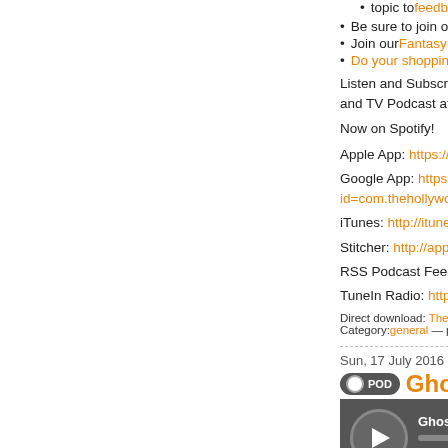Be sure to join our Facebook Go...
Join our Fantasy Movie League!
Do your shopping via our Amazo...
Listen and Subscribe for FREE to a new... and TV Podcast at:
Now on Spotify!
Apple App: https://itunes.apple.com/us/a...
Google App: https://play.google.com/stor... id=com.thehollywoodoutsider.android.the...
iTunes: http://itunes.apple.com/us/podca...
Stitcher: http://app.stitcher.com/browse/f...
RSS Podcast Feed: http://thehollywoodo...
TuneIn Radio: http://tunein.com/radio/Th...
Direct download: The_Hollywood_Outsider_Wha... Category:general — posted at: 7:45pm PDT
Sun, 17 July 2016
[Figure (other): Podcast episode title badge with orange text 'Ghostbusters 201...']
[Figure (screenshot): Audio player showing 'Ghostbusters 2016 Reactions' with play button and timestamp 00:00:00]
Ghostbusters has officially hit movie scre... starring Melissa McCarthy, Kristen Wiig,